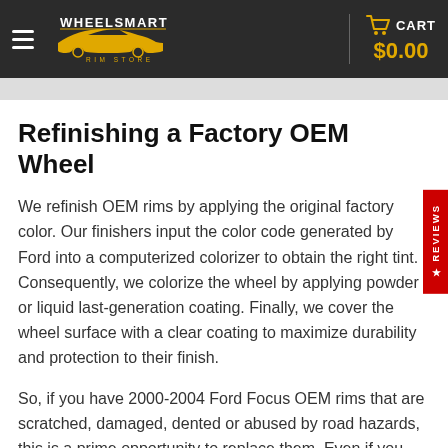WheelSmart Rim Store — CART $0.00
Refinishing a Factory OEM Wheel
We refinish OEM rims by applying the original factory color. Our finishers input the color code generated by Ford into a computerized colorizer to obtain the right tint. Consequently, we colorize the wheel by applying powder or liquid last-generation coating. Finally, we cover the wheel surface with a clear coating to maximize durability and protection to their finish.
So, if you have 2000-2004 Ford Focus OEM rims that are scratched, damaged, dented or abused by road hazards, this is a prime opportunity to replace them. Even if you replace one stock rim, we guarantee it will completely match the factory color of your other factory